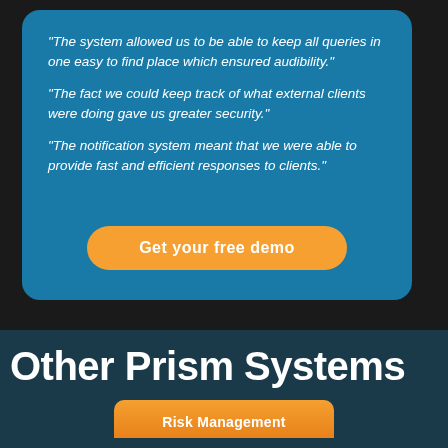“The system allowed us to be able to keep all queries in one easy to find place which ensured audibility.”
“The fact we could keep track of what external clients were doing gave us greater security.”
“The notification system meant that we were able to provide fast and efficient responses to clients.”
Get your free demo
Other Prism Systems
Risk Management